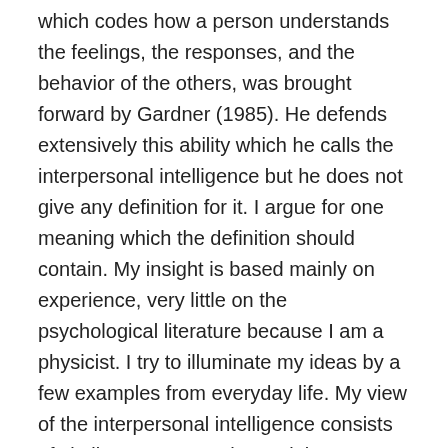which codes how a person understands the feelings, the responses, and the behavior of the others, was brought forward by Gardner (1985). He defends extensively this ability which he calls the interpersonal intelligence but he does not give any definition for it. I argue for one meaning which the definition should contain. My insight is based mainly on experience, very little on the psychological literature because I am a physicist. I try to illuminate my ideas by a few examples from everyday life. My view of the interpersonal intelligence consists of similar aspects as the social intelligence by Barnes and Sternberg (1989). They defined the social intelligence as consisting, in part, of the ability to accurately decode social information. The testees were given two tasks. First, they had to judge whether a couple pictured in a photograph was real (genuinely in a relationship) or fake (two strangers). Second, they were asked to judge which of two